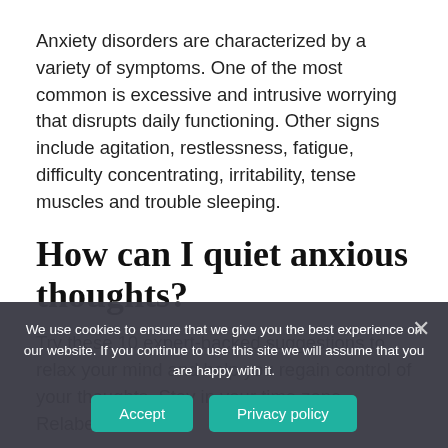Anxiety disorders are characterized by a variety of symptoms. One of the most common is excessive and intrusive worrying that disrupts daily functioning. Other signs include agitation, restlessness, fatigue, difficulty concentrating, irritability, tense muscles and trouble sleeping.
How can I quiet anxious thoughts?
Try these 10 expert-backed suggestions to relax your mind and help you regain control of your thoughts. Stay in your time zone. Relabel what's happening. Fact-check your thoughts. Release the anxiety. Stand up straight...
We use cookies to ensure that we give you the best experience on our website. If you continue to use this site we will assume that you are happy with it.